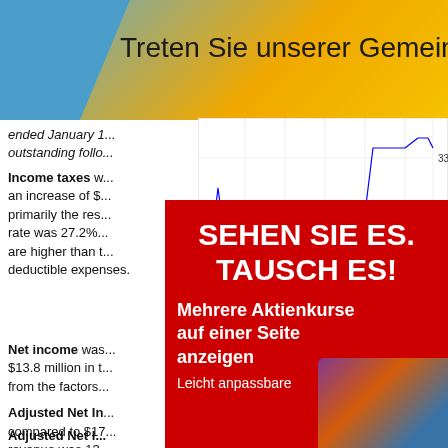Treten Sie unserer Gemeinschaft bei
ended January ... outstanding follo...
Income taxes w... an increase of $... primarily the re... rate was 27.2%... are higher than t... deductible expenses.
[Figure (continuous-plot): Line chart showing stock price data over time (x-axis: 1630 to 2130), with a blue stepped line and a red horizontal reference line at approximately 33.5. Y-axis range approximately 33.4 to 33.8. Source: (c) www.advfn.com]
Net income was... $13.8 million in t... from the factors...
Adjusted Net In... compared to $17... revenue was 13...
[Figure (infographic): Red advertisement overlay with white bold text: 'SEHEN SIE ES. TAUSCH ES!' and sub-text 'Mehrere Aktienkurse auf einer Seite anzeigen' and 'Leicht anpassbare']